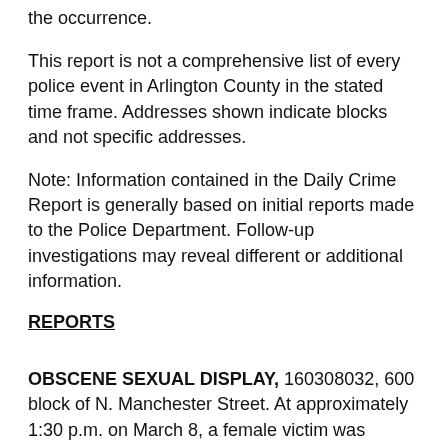the occurrence.
This report is not a comprehensive list of every police event in Arlington County in the stated time frame. Addresses shown indicate blocks and not specific addresses.
Note: Information contained in the Daily Crime Report is generally based on initial reports made to the Police Department. Follow-up investigations may reveal different or additional information.
REPORTS
OBSCENE SEXUAL DISPLAY, 160308032, 600 block of N. Manchester Street. At approximately 1:30 p.m. on March 8, a female victim was walking on the bike trail and observed a male subject masturbating. Darrell Devon Bullard, 42, of no fixed address, was arrested and charged with obscene sexual display. He is being held on no bond.